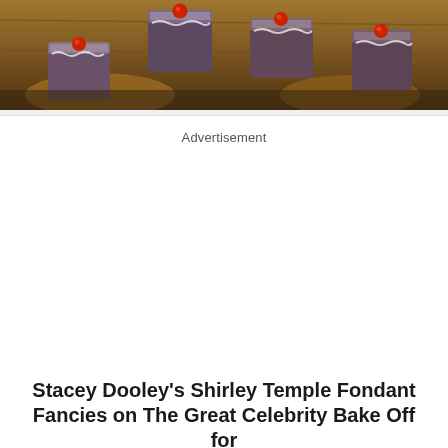[Figure (photo): Chocolate fondant fancies with red cherry decorations on top, arranged on a wooden surface. The cakes are square-shaped with dark chocolate coating and red cherry/candy decorations on top.]
Advertisement
Stacey Dooley's Shirley Temple Fondant Fancies on The Great Celebrity Bake Off for